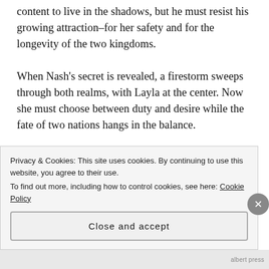content to live in the shadows, but he must resist his growing attraction–for her safety and for the longevity of the two kingdoms.
When Nash's secret is revealed, a firestorm sweeps through both realms, with Layla at the center. Now she must choose between duty and desire while the fate of two nations hangs in the balance.
Erin Albert is an author and fitness trainer.  Since she picked up Morris the Moose Goes to School at age f...
Privacy & Cookies: This site uses cookies. By continuing to use this website, you agree to their use.
To find out more, including how to control cookies, see here: Cookie Policy
Close and accept